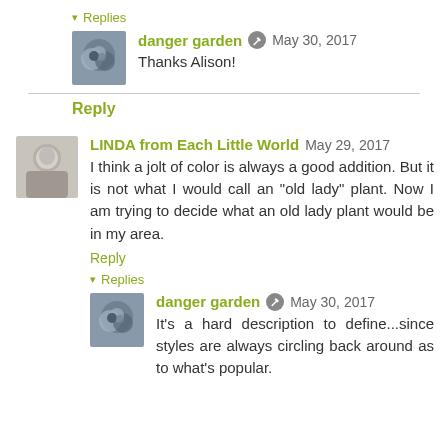▾ Replies
[Figure (photo): Avatar of danger garden user - abstract colored circles photo]
danger garden ✎ May 30, 2017
Thanks Alison!
Reply
LINDA from Each Little World May 29, 2017
I think a jolt of color is always a good addition. But it is not what I would call an "old lady" plant. Now I am trying to decide what an old lady plant would be in my area.
Reply
▾ Replies
[Figure (photo): Avatar of danger garden user - abstract colored circles photo]
danger garden ✎ May 30, 2017
It's a hard description to define...since styles are always circling back around as to what's popular.